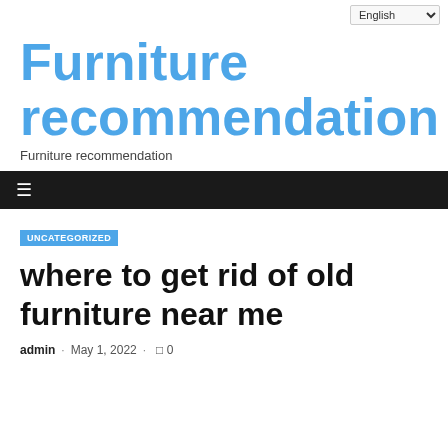English
Furniture recommendation
Furniture recommendation
≡
UNCATEGORIZED
where to get rid of old furniture near me
admin · May 1, 2022 · □ 0